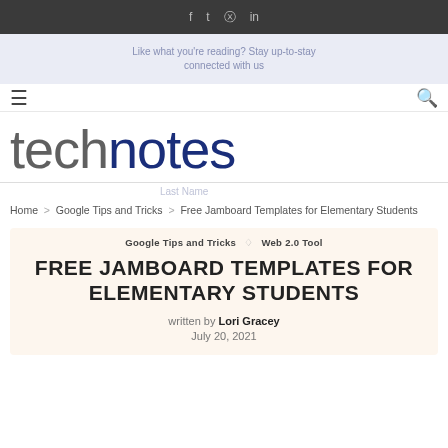f  t  p  in
Like what you're reading? Stay up-to-stay connected with us
≡  [technotes logo]  🔍
[Figure (logo): technotes logo with 'tech' in dark gray and 'notes' in dark navy blue, large display text]
Last Name
Home  >  Google Tips and Tricks  >  Free Jamboard Templates for Elementary Students
Google Tips and Tricks  ◇  Web 2.0 Tool
FREE JAMBOARD TEMPLATES FOR ELEMENTARY STUDENTS
written by Lori Gracey
July 20, 2021